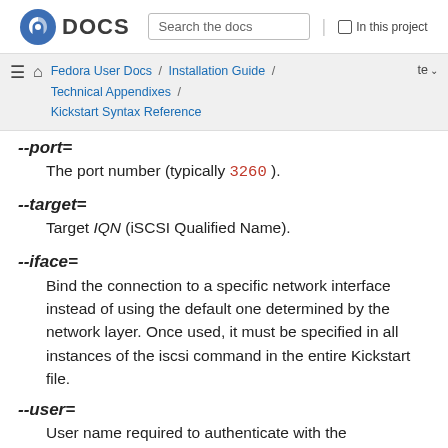Fedora DOCS | Search the docs | In this project
Fedora User Docs / Installation Guide / Technical Appendixes / Kickstart Syntax Reference | te
--port=
The port number (typically 3260 ).
--target=
Target IQN (iSCSI Qualified Name).
--iface=
Bind the connection to a specific network interface instead of using the default one determined by the network layer. Once used, it must be specified in all instances of the iscsi command in the entire Kickstart file.
--user=
User name required to authenticate with the